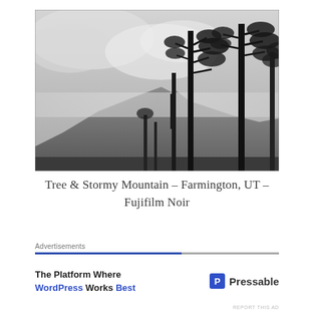[Figure (photo): Black and white photograph of tall trees against a stormy, cloudy sky with misty mountains in the background. The scene is in Farmington, UT, shot in Fujifilm Noir style.]
Tree & Stormy Mountain – Farmington, UT – Fujifilm Noir
Advertisements
[Figure (other): Advertisement banner for Pressable: 'The Platform Where WordPress Works Best' with Pressable logo on the right.]